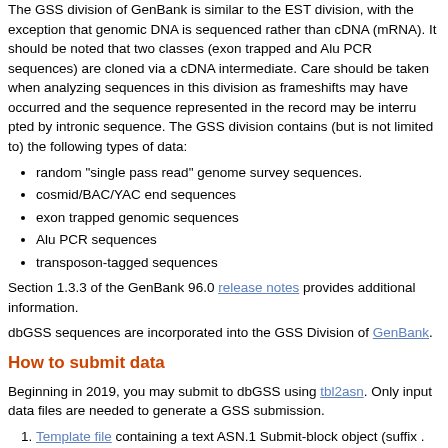The GSS division of GenBank is similar to the EST division, with the exception that genomic DNA is sequenced rather than cDNA (mRNA). It should be noted that two classes (exon trapped and Alu PCR sequences) are cloned via a cDNA intermediate. Care should be taken when analyzing sequences in this division as frameshifts may have occurred and the sequence represented in the record may be interrupted by intronic sequence. The GSS division contains (but is not limited to) the following types of data:
random "single pass read" genome survey sequences.
cosmid/BAC/YAC end sequences
exon trapped genomic sequences
Alu PCR sequences
transposon-tagged sequences
Section 1.3.3 of the GenBank 96.0 release notes provides additional information.
dbGSS sequences are incorporated into the GSS Division of GenBank.
How to submit data
Beginning in 2019, you may submit to dbGSS using tbl2asn. Only input data files are needed to generate a GSS submission.
Template file containing a text ASN.1 Submit-block object (suffix .sbt)
Nucleotide sequence data in FASTA format (suffix .fsa) Each sequence in the FASTA file should include [organism=Genus species] in the definition line. The SeqID will be used as the clone value. You may use other relevant modifiers such as [strain=ABC123], [clone-lib=BAC library], etc.
Features are not required, but you may include a feature table with feature annotation.